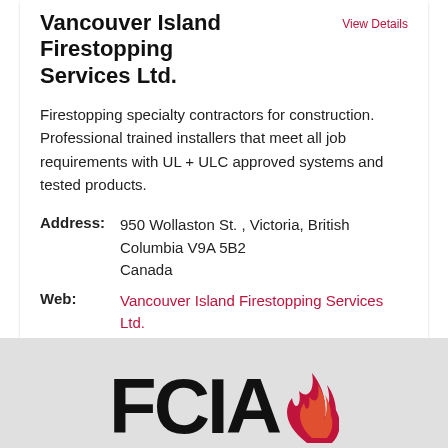Vancouver Island Firestopping Services Ltd.
View Details
Firestopping specialty contractors for construction. Professional trained installers that meet all job requirements with UL + ULC approved systems and tested products.
| Address: | 950 Wollaston St. , Victoria, British Columbia V9A 5B2 Canada |
| Web: | Vancouver Island Firestopping Services Ltd. |
| Contact: | Suzette Goldsworthy  office@vifirestop.com  778-977-5494 |
[Figure (logo): FCIA logo with flame icon at bottom of page]